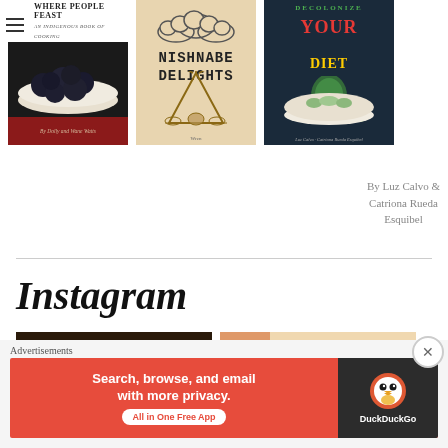[Figure (photo): Book cover: 'Where People Feast' - An Indigenous Book of Cooking, showing dark berries in a bowl on a dark background]
[Figure (photo): Book cover: 'Nishnabe Delights' with hand-drawn style illustration of a teepee and clouds on a tan/cream background]
[Figure (photo): Book cover: 'Decolonize Your Diet' with bold red and yellow text on a dark navy background, featuring a bowl of food]
By Luz Calvo & Catriona Rueda Esquibel
Instagram
[Figure (photo): Instagram photo: close-up of food with orange/red sauce in a round bowl]
[Figure (photo): Instagram photo: colorful dish with vegetables/garnishes on a light background]
Advertisements
[Figure (screenshot): DuckDuckGo advertisement banner: 'Search, browse, and email with more privacy. All in One Free App' with DuckDuckGo logo on dark background]